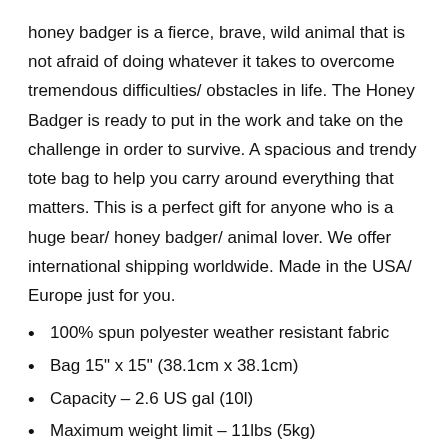honey badger is a fierce, brave, wild animal that is not afraid of doing whatever it takes to overcome tremendous difficulties/ obstacles in life. The Honey Badger is ready to put in the work and take on the challenge in order to survive. A spacious and trendy tote bag to help you carry around everything that matters. This is a perfect gift for anyone who is a huge bear/ honey badger/ animal lover. We offer international shipping worldwide. Made in the USA/ Europe just for you.
100% spun polyester weather resistant fabric
Bag 15" x 15" (38.1cm x 38.1cm)
Capacity – 2.6 US gal (10l)
Maximum weight limit – 11lbs (5kg)
Dual handles 100% natural cotton bull denim
Handle length 11.8" (30cm), width 1" (2.5cm)